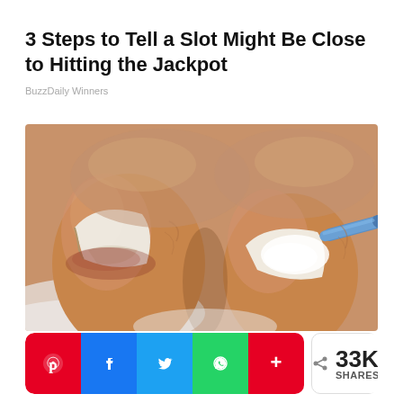3 Steps to Tell a Slot Might Be Close to Hitting the Jackpot
BuzzDaily Winners
[Figure (photo): Close-up illustration of toes with thickened/ingrown toenails, with a blue implement applying white cream or treatment to one toenail]
33K SHARES (social share bar with Pinterest, Facebook, Twitter, WhatsApp, and more buttons)